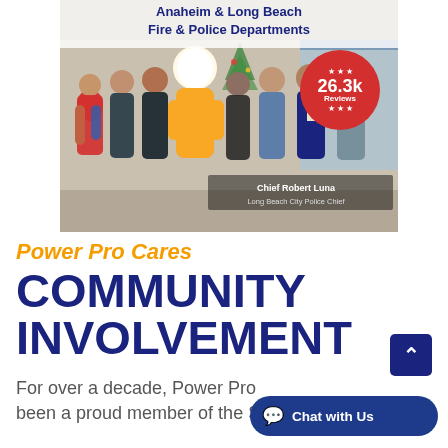[Figure (photo): Group photo of people including a mascot in yellow firefighter costume, standing together indoors. Title text overlay reads 'Anaheim & Long Beach Fire & Police Departments'. A red badge with '26.3k Reviews' and stars is overlaid in the top right. Caption reads 'Chief Robert Luna, Long Beach City Police Chief'.]
Power Pro Cares
COMMUNITY INVOLVEMENT
For over a decade, Power Pro been a proud member of the Southern